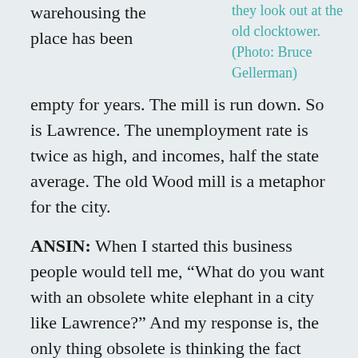warehousing the place has been
they look out at the old clocktower. (Photo: Bruce Gellerman)
empty for years. The mill is run down. So is Lawrence. The unemployment rate is twice as high, and incomes, half the state average. The old Wood mill is a metaphor for the city.
ANSIN: When I started this business people would tell me, “What do you want with an obsolete white elephant in a city like Lawrence?” And my response is, the only thing obsolete is thinking the fact that we economically can't make textiles here eliminates one use out of a million uses for a building such as this.
GELLERMAN: Ansin is turning the white elephant into a huge green energy project; morphing the mothballed Wood Mill into Monarch on the Merrimack. There’ll be 600 luxury condos, a jazz club, a restaurant, café, and